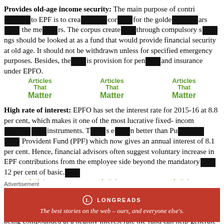Provides old-age income security: The main purpose of contributions to EPF is to create a corpus for the golden years of the members. The corpus created through compulsory savings should be looked at as a fund that would provide financial security at old age. It should not be withdrawn unless for specified emergency purposes. Besides, there is provision for pension and insurance under EPFO.
High rate of interest: EPFO has set the interest rate for 2015-16 at 8.8 per cent, which makes it one of the most lucrative fixed-income saving instruments. This is even better than Public Provident Fund (PPF) which now gives an annual interest of 8.1 per cent. Hence, financial advisors often suggest voluntary increase in EPF contributions from the employee side beyond the mandatory 12 per cent of basic.
Compounding for more years builds large corpus: With the money being compounded at a healthy interest rate the fund can help generate a corpus at retirement can be substantial. A quick calculation shows that an average monthly contribution of Rs 1000 for 30 years at 8.8 per cent would accumulate will...
Advertisement
[Figure (infographic): Longreads advertisement banner: red background with Longreads logo and tagline 'The best stories on the web - ours, and everyone else's.']